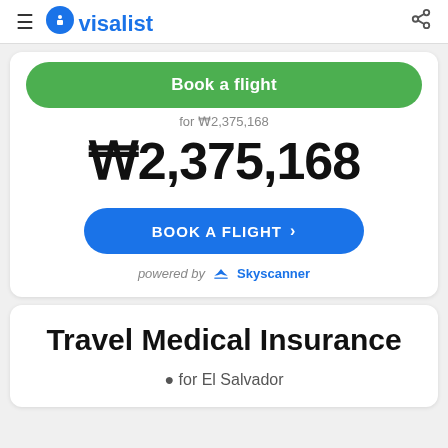visalist
Book a flight
for ₩2,375,168
₩2,375,168
BOOK A FLIGHT >
powered by Skyscanner
Travel Medical Insurance
for El Salvador